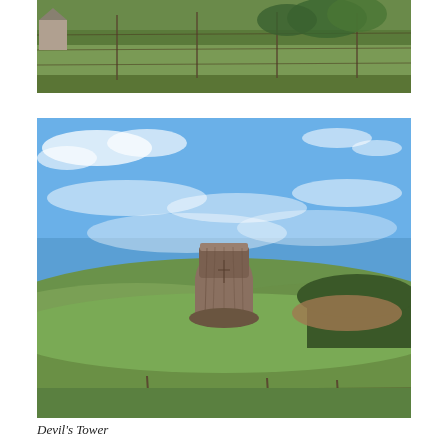[Figure (photo): A rural landscape with green grassy fields, fencing, and trees in the background with a building partially visible on the left.]
[Figure (photo): Devil's Tower, a distinctive flat-topped rock butte rising above green rolling hills under a blue sky with scattered white clouds. A fence is visible in the foreground and trees to the right.]
Devil's Tower